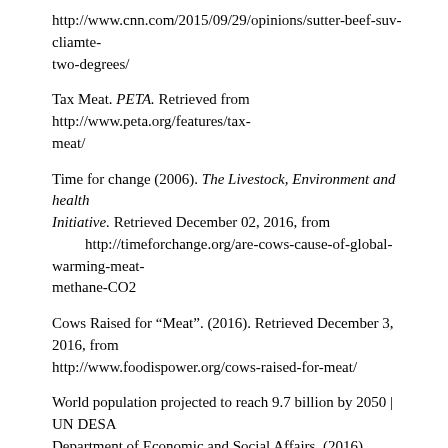http://www.cnn.com/2015/09/29/opinions/sutter-beef-suv-cliamte-two-degrees/
Tax Meat. PETA. Retrieved from http://www.peta.org/features/tax-meat/
Time for change (2006). The Livestock, Environment and health Initiative. Retrieved December 02, 2016, from http://timeforchange.org/are-cows-cause-of-global-warming-meat-methane-CO2
Cows Raised for “Meat”. (2016). Retrieved December 3, 2016, from http://www.foodispower.org/cows-raised-for-meat/
World population projected to reach 9.7 billion by 2050 | UN DESA Department of Economic and Social Affairs. (2016).    Retrieved December 04, 2016, from http://www.un.org/en/development/desa/news/population/2015-report.html
Thornton, P. K. (2010). Livestock production: Recent trends, future